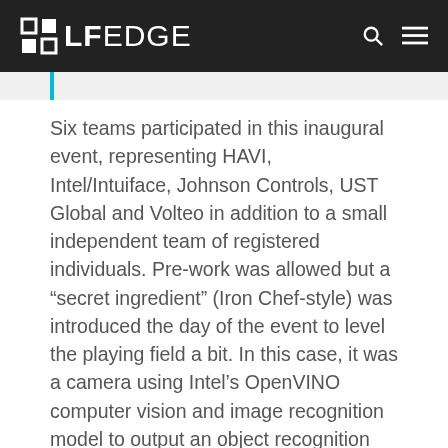LF EDGE
Six teams participated in this inaugural event, representing HAVI, Intel/Intuiface, Johnson Controls, UST Global and Volteo in addition to a small independent team of registered individuals. Pre-work was allowed but a “secret ingredient” (Iron Chef-style) was introduced the day of the event to level the playing field a bit. In this case, it was a camera using Intel’s OpenVINO computer vision and image recognition model to output an object recognition